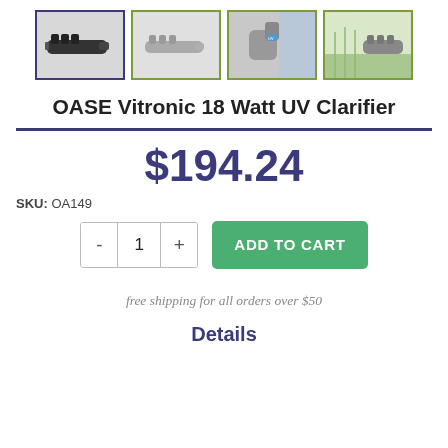[Figure (photo): Four product thumbnail images of OASE Vitronic 18 Watt UV Clarifier. First image is selected (blue border), others have green borders. Images show the device from different angles and in outdoor settings.]
OASE Vitronic 18 Watt UV Clarifier
$194.24
SKU: OA149
free shipping for all orders over $50
Details